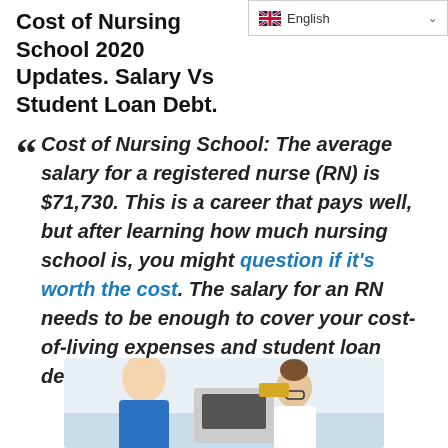English
Cost of Nursing School 2020 Updates. Salary Vs Student Loan Debt.
Cost of Nursing School: The average salary for a registered nurse (RN) is $71,730. This is a career that pays well, but after learning how much nursing school is, you might question if it's worth the cost. The salary for an RN needs to be enough to cover your cost-of-living expenses and student loan debt.
[Figure (photo): Photo of nursing professionals in a clinical setting, partially visible at the bottom of the page.]